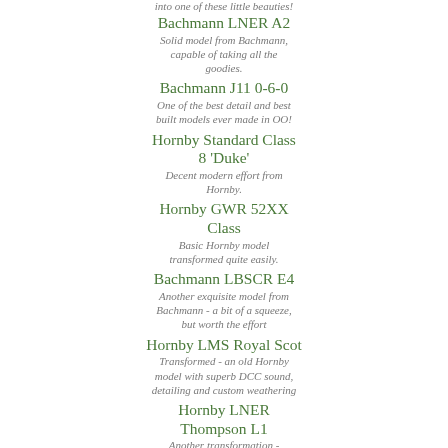into one of these little beauties!
Bachmann LNER A2
Solid model from Bachmann, capable of taking all the goodies.
Bachmann J11 0-6-0
One of the best detail and best built models ever made in OO!
Hornby Standard Class 8 'Duke'
Decent modern effort from Hornby.
Hornby GWR 52XX Class
Basic Hornby model transformed quite easily.
Bachmann LBSCR E4
Another exquisite model from Bachmann - a bit of a squeeze, but worth the effort
Hornby LMS Royal Scot
Transformed - an old Hornby model with superb DCC sound, detailing and custom weathering
Hornby LNER Thompson L1
Another transformation - Hornby's model with B1 DCC sound, detailing and custom weathering
Hornby LSWR S15
Fabulous model, involved install, but what a result!
Hornby Class 700 Drummond